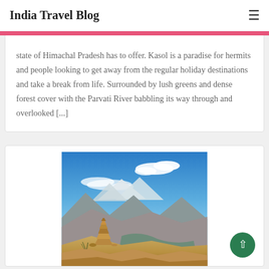India Travel Blog
state of Himachal Pradesh has to offer. Kasol is a paradise for hermits and people looking to get away from the regular holiday destinations and take a break from life. Surrounded by lush greens and dense forest cover with the Parvati River babbling its way through and overlooked [...]
[Figure (photo): Mountain landscape with rock cairn in foreground, a river valley and snow-capped mountains in background under a blue sky with white clouds]